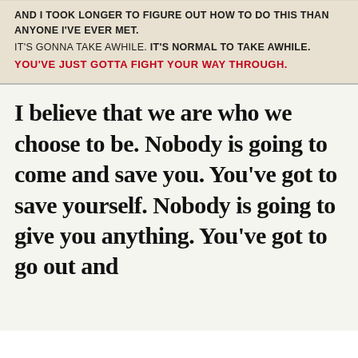AND I TOOK LONGER TO FIGURE OUT HOW TO DO THIS THAN ANYONE I'VE EVER MET. IT'S GONNA TAKE AWHILE. IT'S NORMAL TO TAKE AWHILE. YOU'VE JUST GOTTA FIGHT YOUR WAY THROUGH.
I believe that we are who we choose to be. Nobody is going to come and save you. You've got to save yourself. Nobody is going to give you anything. You've got to go out and